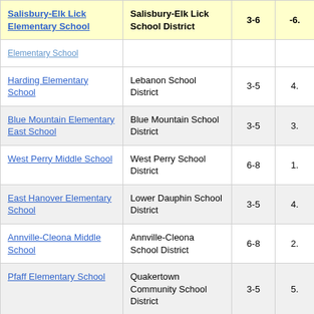| School | District | Grades | Score |
| --- | --- | --- | --- |
| Salisbury-Elk Lick Elementary School | Salisbury-Elk Lick School District | 3-6 | -6. |
| Elementary School (partial) |  |  |  |
| Harding Elementary School | Lebanon School District | 3-5 | 4. |
| Blue Mountain Elementary East School | Blue Mountain School District | 3-5 | 3. |
| West Perry Middle School | West Perry School District | 6-8 | 1. |
| East Hanover Elementary School | Lower Dauphin School District | 3-5 | 4. |
| Annville-Cleona Middle School | Annville-Cleona School District | 6-8 | 2. |
| Pfaff Elementary School | Quakertown Community School District | 3-5 | 5. |